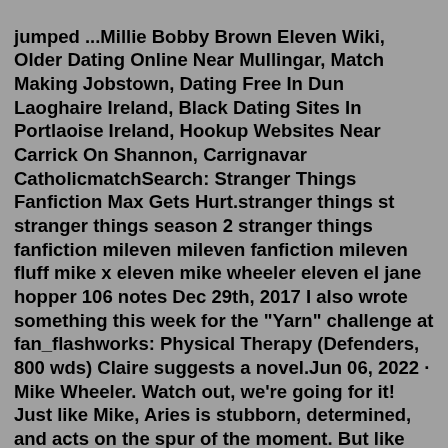jumped ...Millie Bobby Brown Eleven Wiki, Older Dating Online Near Mullingar, Match Making Jobstown, Dating Free In Dun Laoghaire Ireland, Black Dating Sites In Portlaoise Ireland, Hookup Websites Near Carrick On Shannon, Carrignavar CatholicmatchSearch: Stranger Things Fanfiction Max Gets Hurt.stranger things st stranger things season 2 stranger things fanfiction mileven mileven fanfiction mileven fluff mike x eleven mike wheeler eleven el jane hopper 106 notes Dec 29th, 2017 I also wrote something this week for the "Yarn" challenge at fan_flashworks: Physical Therapy (Defenders, 800 wds) Claire suggests a novel.Jun 06, 2022 · Mike Wheeler. Watch out, we're going for it! Just like Mike, Aries is stubborn, determined, and acts on the spur of the moment. But like Mike, he's also, and above all, a passionate boss with ... Jun 15, 2022 · The real reason Mike and Eleven could break up in Stranger Things Vol.2 might actually be because of a deep reason, involving Mike's parents.Eleven and Mike's